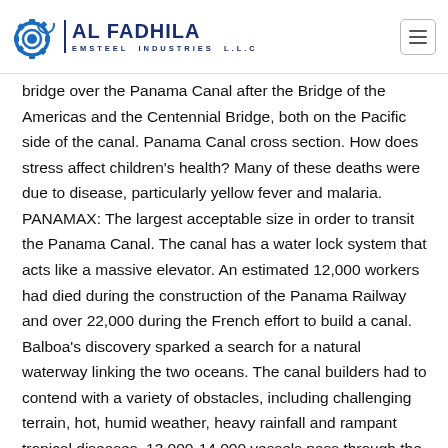[Figure (logo): Al Fadhila Emsteel Industries LLC logo with gear icon and company name]
bridge over the Panama Canal after the Bridge of the Americas and the Centennial Bridge, both on the Pacific side of the canal. Panama Canal cross section. How does stress affect children's health? Many of these deaths were due to disease, particularly yellow fever and malaria. PANAMAX: The largest acceptable size in order to transit the Panama Canal. The canal has a water lock system that acts like a massive elevator. An estimated 12,000 workers had died during the construction of the Panama Railway and over 22,000 during the French effort to build a canal. Balboa's discovery sparked a search for a natural waterway linking the two oceans. The canal builders had to contend with a variety of obstacles, including challenging terrain, hot, humid weather, heavy rainfall and rampant tropical diseases. 13,000-14,000 vessels pass through the Panama Canal each year, at a rate of about 35-